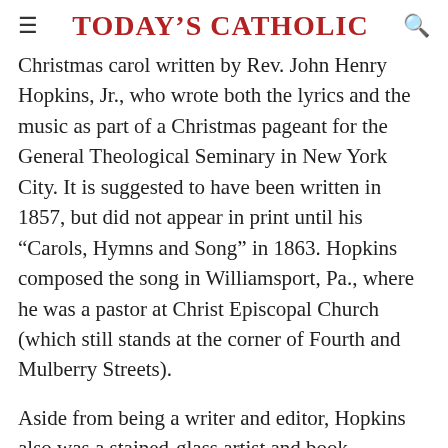Today's Catholic
Christmas carol written by Rev. John Henry Hopkins, Jr., who wrote both the lyrics and the music as part of a Christmas pageant for the General Theological Seminary in New York City. It is suggested to have been written in 1857, but did not appear in print until his “Carols, Hymns and Song” in 1863. Hopkins composed the song in Williamsport, Pa., where he was a pastor at Christ Episcopal Church (which still stands at the corner of Fourth and Mulberry Streets).
Aside from being a writer and editor, Hopkins also was a stained-glass artist and book illustrator.